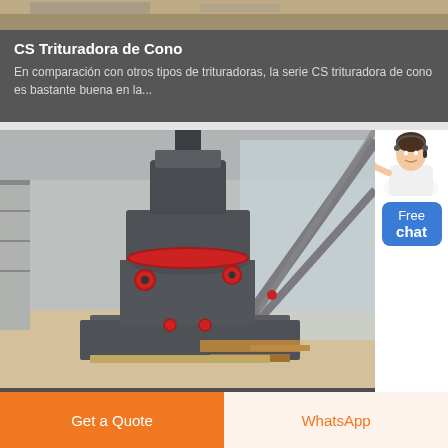[Figure (photo): Top portion of an industrial machine (conveyor/crusher) visible at top of page — partial crop]
CS Trituradora de Cono
En comparación con otros tipos de trituradoras, la serie CS trituradora de cono es bastante buena en la...
[Figure (photo): MTM Trapezoidal Mill — large dark grey industrial grinding mill machine inside a factory building with diagonal steel structural beams visible through windows]
MTM Molino Trapezoidal
[Figure (photo): Customer service avatar — woman in white jacket with headset pointing, with a blue Free chat button]
Get a Quote
WhatsApp